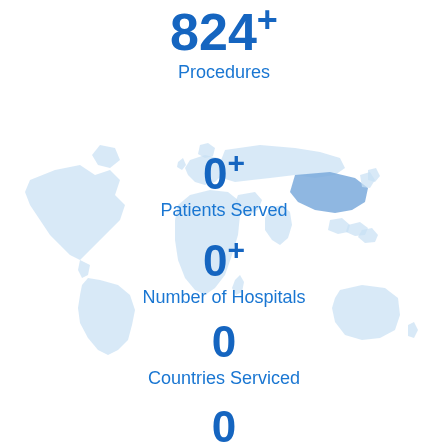824+
Procedures
[Figure (map): World map with light blue continents, Asia highlighted in a slightly darker blue]
0+
Patients Served
0+
Number of Hospitals
0
Countries Serviced
0